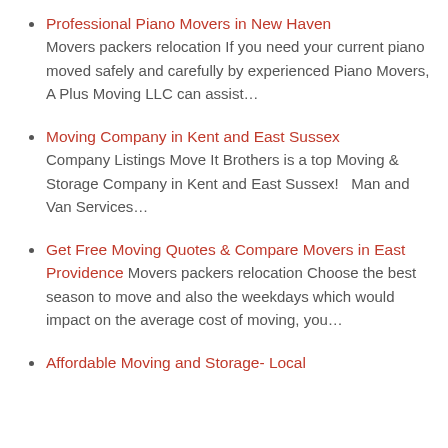Professional Piano Movers in New Haven — Movers packers relocation If you need your current piano moved safely and carefully by experienced Piano Movers, A Plus Moving LLC can assist…
Moving Company in Kent and East Sussex — Company Listings Move It Brothers is a top Moving & Storage Company in Kent and East Sussex!   Man and Van Services…
Get Free Moving Quotes & Compare Movers in East Providence — Movers packers relocation Choose the best season to move and also the weekdays which would impact on the average cost of moving, you…
Affordable Moving and Storage- Local